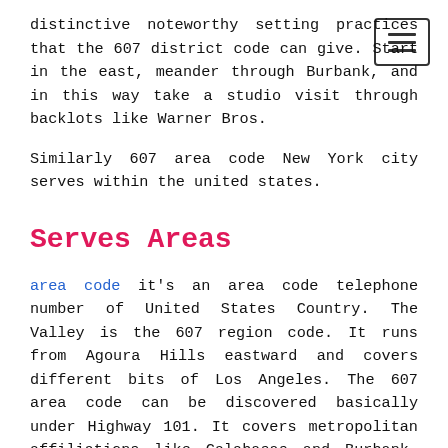distinctive noteworthy setting practices that the 607 district code can give. Start in the east, meander through Burbank, and in this way take a studio visit through backlots like Warner Bros.
Similarly 607 area code New York city serves within the united states.
Serves Areas
area code it's an area code telephone number of United States Country. The Valley is the 607 region code. It runs from Agoura Hills eastward and covers different bits of Los Angeles. The 607 area code can be discovered basically under Highway 101. It covers metropolitan affiliations like Calabasas and Burbank. It